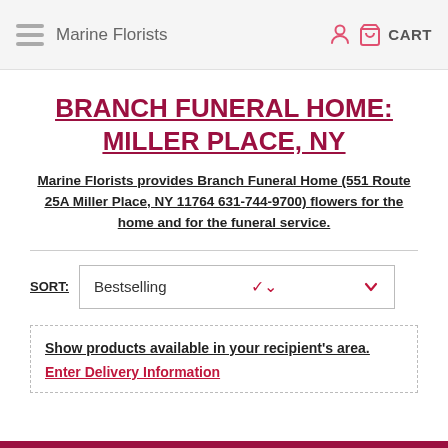Marine Florists | CART
BRANCH FUNERAL HOME: MILLER PLACE, NY
Marine Florists provides Branch Funeral Home (551 Route 25A Miller Place, NY 11764 631-744-9700) flowers for the home and for the funeral service.
SORT: Bestselling
Show products available in your recipient's area. Enter Delivery Information